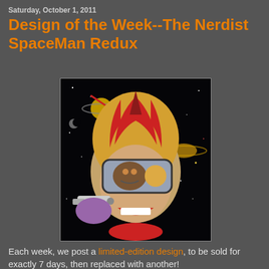Saturday, October 1, 2011
Design of the Week--The Nerdist SpaceMan Redux
[Figure (illustration): Comic-style illustration of a space man wearing a striped helmet and large visor goggles reflecting monsters, holding a ray gun, set against a black starry space background with planets.]
Each week, we post a limited-edition design, to be sold for exactly 7 days, then replaced with another! This week...it's the return of the most interesting visual on